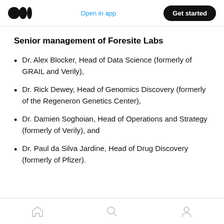Open in app | Get started
Senior management of Foresite Labs
Dr. Alex Blocker, Head of Data Science (formerly of GRAIL and Verily),
Dr. Rick Dewey, Head of Genomics Discovery (formerly of the Regeneron Genetics Center),
Dr. Damien Soghoian, Head of Operations and Strategy (formerly of Verily), and
Dr. Paul da Silva Jardine, Head of Drug Discovery (formerly of Pfizer).
Home | Search | Profile